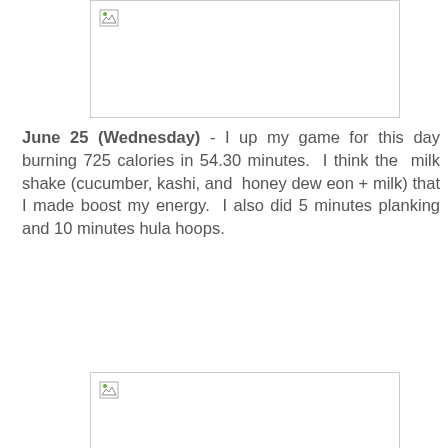[Figure (photo): Broken/missing image placeholder at top of page]
June 25 (Wednesday) - I up my game for this day burning 725 calories in 54.30 minutes. I think the milk shake (cucumber, kashi, and honey dew eon + milk) that I made boost my energy. I also did 5 minutes planking and 10 minutes hula hoops.
[Figure (photo): Broken/missing image placeholder at bottom of page]